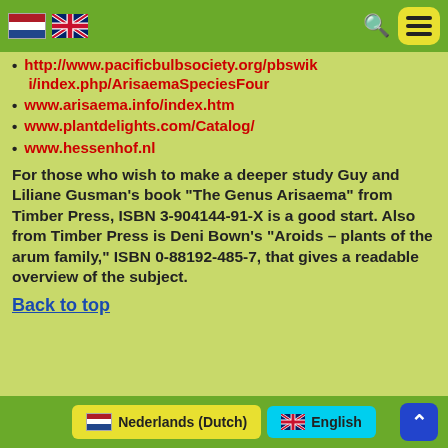Navigation header with Dutch and English flags, search icon, and menu button
http://www.pacificbulbsociety.org/pbswiki/index.php/ArisaemaSpeciesFour
www.arisaema.info/index.htm
www.plantdelights.com/Catalog/
www.hessenhof.nl
For those who wish to make a deeper study Guy and Liliane Gusman’s book “The Genus Arisaema” from Timber Press, ISBN 3-904144-91-X is a good start. Also from Timber Press is Deni Bown’s “Aroids – plants of the arum family,” ISBN 0-88192-485-7, that gives a readable overview of the subject.
Back to top
Nederlands (Dutch) | English | Back to top button